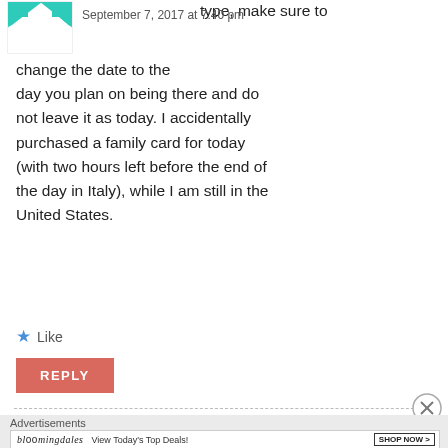[Figure (illustration): User avatar icon with teal/green diamond pattern on white background]
type, make sure to
September 7, 2017 at 7:40 pm
change the date to the day you plan on being there and do not leave it as today. I accidentally purchased a family card for today (with two hours left before the end of the day in Italy), while I am still in the United States.
★ Like
REPLY
Advertisements
[Figure (screenshot): Bloomingdales advertisement banner with text 'bloomingdales View Today's Top Deals!' and a woman wearing a large hat, with 'SHOP NOW >' button]